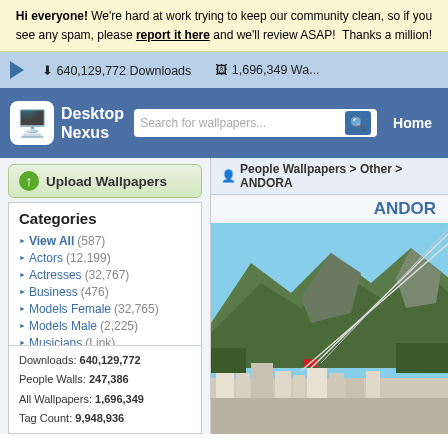Hi everyone! We're hard at work trying to keep our community clean, so if you see any spam, please report it here and we'll review ASAP! Thanks a million!
640,129,772 Downloads   1,696,349 Wa...
[Figure (screenshot): Desktop Nexus logo with robot mascot icon]
Search for wallpapers...
Home
Upload Wallpapers
People Wallpapers > Other > ANDORA
Categories
View All (587)
Actors (12,199)
Actresses (32,767)
Business (476)
Models Female (32,765)
Models Male (2,225)
Musicians (Link)
Political (1,430)
Sports (Link)
Other (32,767)
Downloads: 640,129,772
People Walls: 247,386
All Wallpapers: 1,696,349
Tag Count: 9,948,936
ANDOR
[Figure (photo): Aerial photo of Andorra city with mountains in background and cable car lines visible]